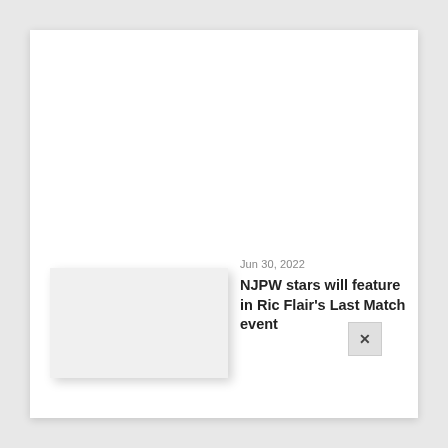[Figure (photo): Thumbnail image placeholder (white/light grey rectangle)]
Jun 30, 2022
NJPW stars will feature in Ric Flair's Last Match event